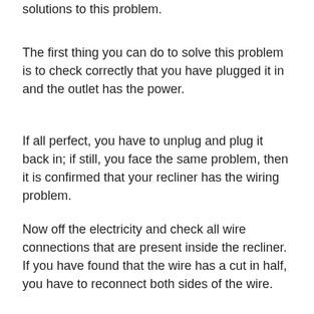solutions to this problem.
The first thing you can do to solve this problem is to check correctly that you have plugged it in and the outlet has the power.
If all perfect, you have to unplug and plug it back in; if still, you face the same problem, then it is confirmed that your recliner has the wiring problem.
Now off the electricity and check all wire connections that are present inside the recliner. If you have found that the wire has a cut in half, you have to reconnect both sides of the wire.
Cover the wire with the help of electrical tape to ensure that both sides of the wire are connected safely with each